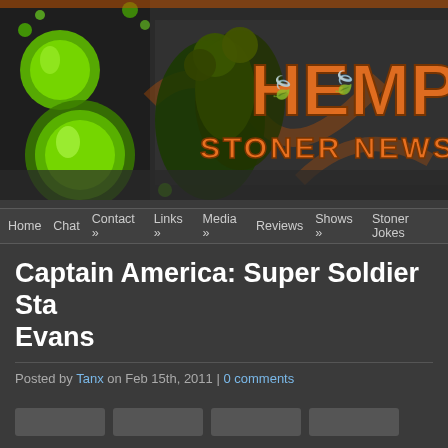[Figure (illustration): Hemp Beach TV website banner header with orange cannabis-leaf stylized 'HEMP B...' logo text and 'STONER NEWS AND...' subtitle. Green bubble decorative elements on left side, orange swirls, cannabis plant imagery on dark/grey background.]
Home  Chat  Contact »  Links »  Media »  Reviews  Shows »  Stoner Jokes
Captain America: Super Soldier Sta... Evans
Posted by Tanx on Feb 15th, 2011 | 0 comments